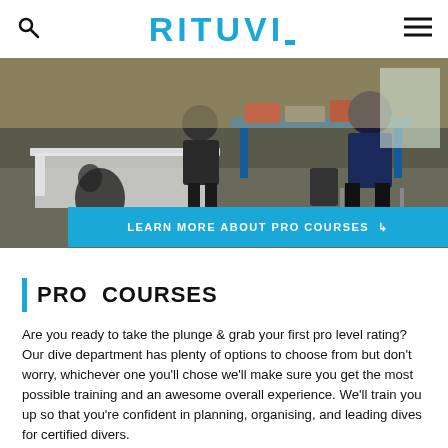RITUVI_
[Figure (photo): People sitting around a blue table with equipment and clothing items spread on tables in what appears to be a dive shop or training room.]
LEARN MORE ABOUT PRO COURSES →
PRO COURSES
Are you ready to take the plunge & grab your first pro level rating? Our dive department has plenty of options to choose from but don't worry, whichever one you'll chose we'll make sure you get the most possible training and an awesome overall experience. We'll train you up so that you're confident in planning, organising, and leading dives for certified divers.